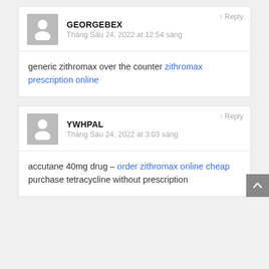GEORGEBEX
Tháng Sáu 24, 2022 at 12:54 sáng
generic zithromax over the counter zithromax prescription online
YWHPAL
Tháng Sáu 24, 2022 at 3:03 sáng
accutane 40mg drug – order zithromax online cheap purchase tetracycline without prescription